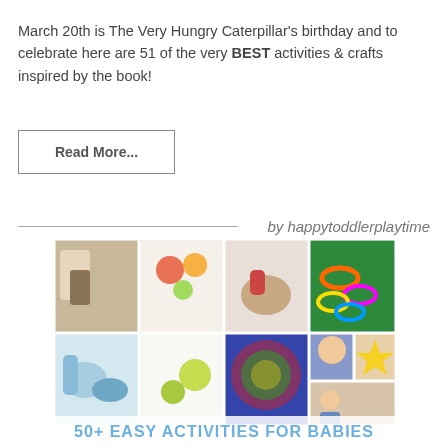March 20th is The Very Hungry Caterpillar's birthday and to celebrate here are 51 of the very BEST activities & crafts inspired by the book!
Read More...
by happytoddlerplaytime
[Figure (photo): Collage of baby and toddler activity photos arranged in a grid, showing various hands-on play activities.]
50+ EASY ACTIVITIES FOR BABIES